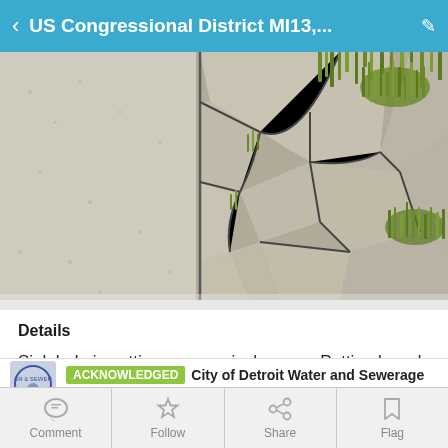US Congressional District MI13,...
[Figure (photo): Close-up photograph of cracked and deteriorating pavement/sidewalk with grass growing through the cracks, showing a sinkhole or severely damaged concrete surface.]
Details
Sink hole is getting progressively worse Putting boards on it is not a fix!!! Please actually fix the stupid thing before somebody falls in!
ACKNOWLEDGED  City of Detroit Water and Sewerage Dept. (Verified Official)